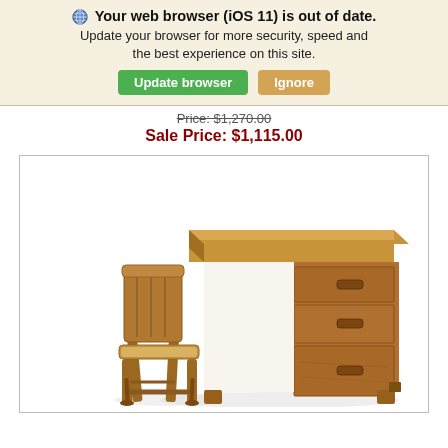🌐 Your web browser (iOS 11) is out of date. Update your browser for more security, speed and the best experience on this site. [Update browser] [Ignore]
Price: $1,270.00
Sale Price: $1,115.00
[Figure (photo): A rustic wooden desk with three drawers on the right side and a matching wooden chair placed behind/beside it, both made of reclaimed barnwood-style lumber.]